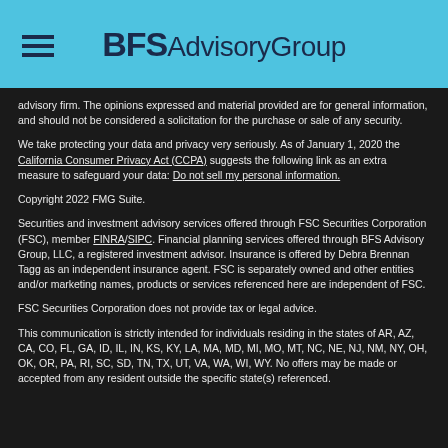[Figure (logo): BFS Advisory Group logo on light blue header bar with hamburger menu icon]
advisory firm. The opinions expressed and material provided are for general information, and should not be considered a solicitation for the purchase or sale of any security.
We take protecting your data and privacy very seriously. As of January 1, 2020 the California Consumer Privacy Act (CCPA) suggests the following link as an extra measure to safeguard your data: Do not sell my personal information.
Copyright 2022 FMG Suite.
Securities and investment advisory services offered through FSC Securities Corporation (FSC), member FINRA/SIPC. Financial planning services offered through BFS Advisory Group, LLC, a registered investment advisor. Insurance is offered by Debra Brennan Tagg as an independent insurance agent. FSC is separately owned and other entities and/or marketing names, products or services referenced here are independent of FSC.
FSC Securities Corporation does not provide tax or legal advice.
This communication is strictly intended for individuals residing in the states of AR, AZ, CA, CO, FL, GA, ID, IL, IN, KS, KY, LA, MA, MD, MI, MO, MT, NC, NE, NJ, NM, NY, OH, OK, OR, PA, RI, SC, SD, TN, TX, UT, VA, WA, WI, WY. No offers may be made or accepted from any resident outside the specific state(s) referenced.